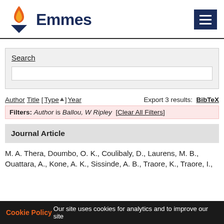Emmes
Search
Author  Title  [ Type ]  Year    Export 3 results:  BibTeX
Filters: Author is Ballou, W Ripley  [Clear All Filters]
Journal Article
M. A. Thera, Doumbo, O. K., Coulibaly, D., Laurens, M. B., Ouattara, A., Kone, A. K., Sissinde, A. B., Traore, K., Traore, I., ...
Cookie Policy  Our site uses cookies for analytics and to improve our site